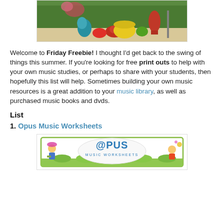[Figure (photo): Photo of colorful sea creature sculptures/statues (seahorses, crab, fish) in an outdoor setting with green trees in background]
Welcome to Friday Freebie! I thought I'd get back to the swing of things this summer. If you're looking for free print outs to help with your own music studies, or perhaps to share with your students, then hopefully this list will help. Sometimes building your own music resources is a great addition to your music library, as well as purchased music books and dvds.
List
1. Opus Music Worksheets
[Figure (logo): Opus Music Worksheets banner/logo with cartoon children playing instruments, green grass border, and stylized 'OPUS MUSIC WORKSHEETS' text in an oval]